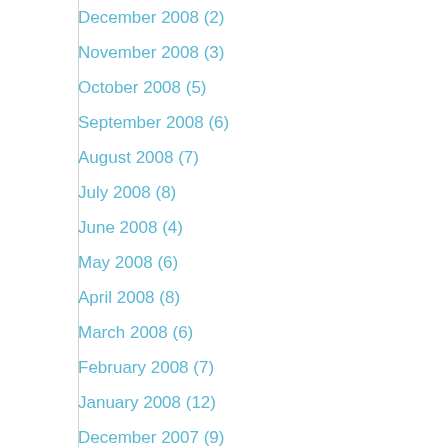December 2008 (2)
November 2008 (3)
October 2008 (5)
September 2008 (6)
August 2008 (7)
July 2008 (8)
June 2008 (4)
May 2008 (6)
April 2008 (8)
March 2008 (6)
February 2008 (7)
January 2008 (12)
December 2007 (9)
November 2007 (15)
October 2007 (8)
September 2007 (11)
August 2007 (14)